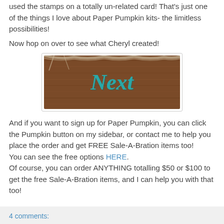used the stamps on a totally un-related card! That's just one of the things I love about Paper Pumpkin kits- the limitless possibilities!
Now hop on over to see what Cheryl created!
[Figure (photo): A wooden background with rope/burlap and the word 'Next' written in teal cursive lettering]
And if you want to sign up for Paper Pumpkin, you can click the Pumpkin button on my sidebar, or contact me to help you place the order and get FREE Sale-A-Bration items too! You can see the free options HERE. Of course, you can order ANYTHING totalling $50 or $100 to get the free Sale-A-Bration items, and I can help you with that too!
4 comments: